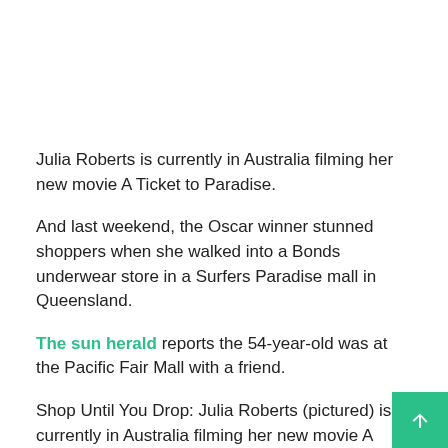Julia Roberts is currently in Australia filming her new movie A Ticket to Paradise.
And last weekend, the Oscar winner stunned shoppers when she walked into a Bonds underwear store in a Surfers Paradise mall in Queensland.
The sun herald reports the 54-year-old was at the Pacific Fair Mall with a friend.
Shop Until You Drop: Julia Roberts (pictured) is currently in Australia filming her new movie A Ticket to Paradise. Last weekend, the Oscar winner stunned shoppers when she walked into a Bonds underwear store in a Surfers Paradise mall in Queensland.